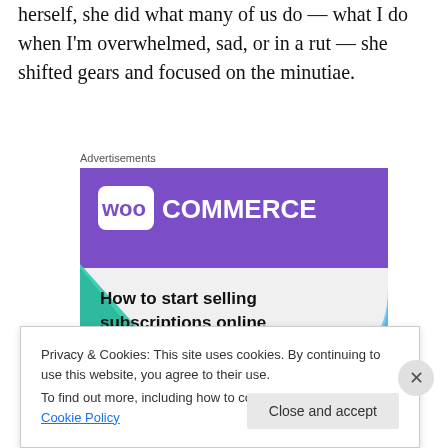herself, she did what many of us do — what I do when I'm overwhelmed, sad, or in a rut — she shifted gears and focused on the minutiae.
Advertisements
[Figure (screenshot): WooCommerce advertisement banner showing purple header with WooCommerce logo, teal triangle shape on left, light blue arc on right, text reading 'How to start selling subscriptions online']
Privacy & Cookies: This site uses cookies. By continuing to use this website, you agree to their use.
To find out more, including how to control cookies, see here: Cookie Policy